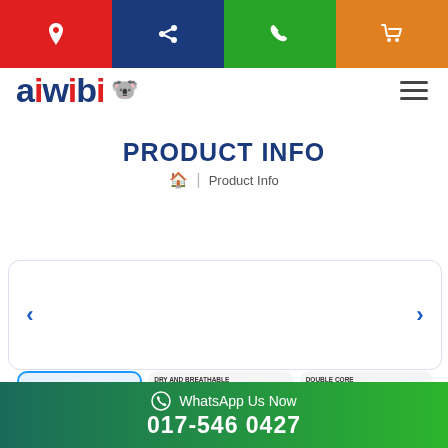[Figure (screenshot): Top navigation icon bar with four colored buttons: red location pin, navy share icon, green phone icon, orange shopping cart icon]
[Figure (logo): aiwibi logo with koala mascot icon in dark navy blue, hamburger menu icon on right]
PRODUCT INFO
🏠 | Product Info
[Figure (screenshot): Product carousel with left and right navigation arrows, showing three product thumbnails: aiwibi diaper package, dry and breathable feature card, double core high absorption feature card]
WhatsApp Us Now
017-546 0427